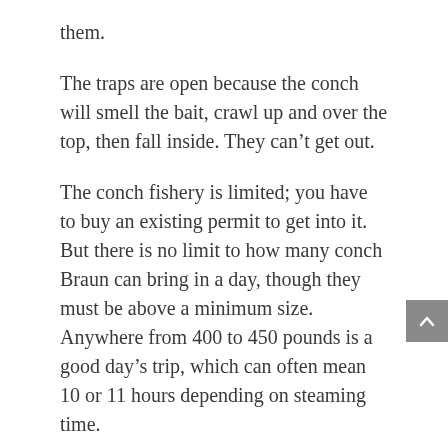them.
The traps are open because the conch will smell the bait, crawl up and over the top, then fall inside. They can't get out.
The conch fishery is limited; you have to buy an existing permit to get into it. But there is no limit to how many conch Braun can bring in a day, though they must be above a minimum size. Anywhere from 400 to 450 pounds is a good day's trip, which can often mean 10 or 11 hours depending on steaming time.
When cod and haddock catches fell,